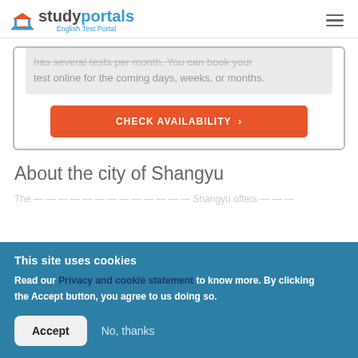studyportals English Test Portal
has several tests per month. You can book your test online for the coming days, weeks, or months.
CHECK AVAILABILITY >
About the city of Shangyu
This site uses cookies
Read our Privacy and cookie statement to know more. By clicking the Accept button, you agree to us doing so.
Accept
No, thanks